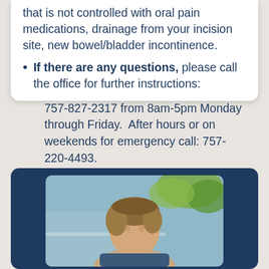that is not controlled with oral pain medications, drainage from your incision site, new bowel/bladder incontinence.
If there are any questions, please call the office for further instructions:
757-827-2317 from 8am-5pm Monday through Friday.  After hours or on weekends for emergency call: 757-220-4493.
[Figure (photo): Portrait photo of a person (doctor/staff member) with brown hair, outdoors with blurred greenery and teal/blue background.]